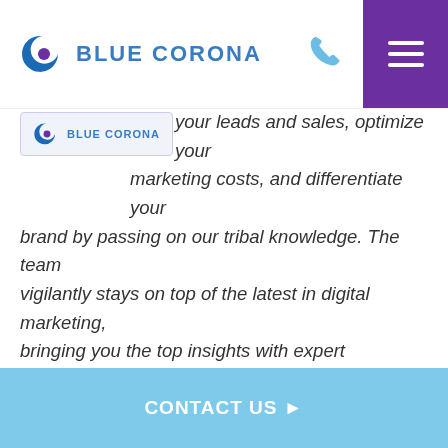Blue Corona
your leads and sales, optimize your marketing costs, and differentiate your brand by passing on our tribal knowledge. The team vigilantly stays on top of the latest in digital marketing, bringing you the top insights with expert commentary. Want to see something on our blog you haven't seen yet? Shoot us an email and our marketing team will get to work.
View more blogs by Blue Corona
Let's Talk
CONTACT US ▶